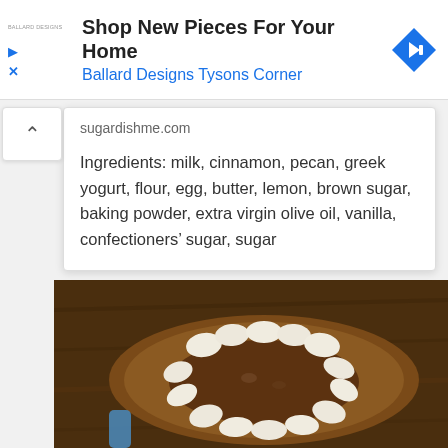[Figure (screenshot): Advertisement banner for Ballard Designs Tysons Corner with navigation arrow icon, play and close icons on left, logo text, bold headline and blue subtitle link]
sugardishme.com
Ingredients: milk, cinnamon, pecan, greek yogurt, flour, egg, butter, lemon, brown sugar, baking powder, extra virgin olive oil, vanilla, confectioners’ sugar, sugar
[Figure (photo): Photo of a circular food dish topped with cream or frosting dollops arranged in a ring on a brown surface, on a wooden table]